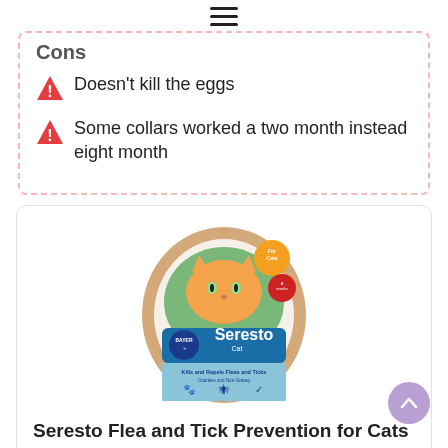≡ (hamburger menu)
Cons
Doesn't kill the eggs
Some collars worked a two month instead eight month
[Figure (photo): Seresto Cat flea and tick collar product packaging — circular collar with cat photo, Bayer logo, and teal/blue label]
Seresto Flea and Tick Prevention for Cats
More Reviews